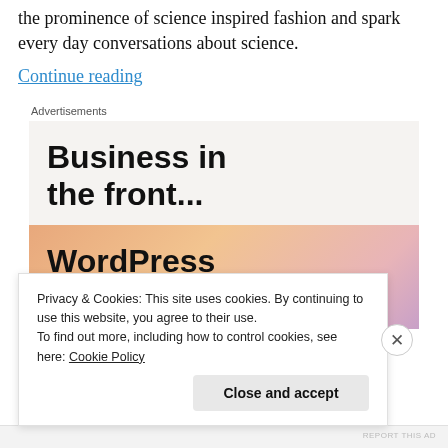the prominence of science inspired fashion and spark every day conversations about science.
Continue reading
Advertisements
[Figure (screenshot): Advertisement banner with two sections: top section on light gray background reading 'Business in the front...' in bold black text; bottom section on orange/peach gradient background reading 'WordPress in the back.' in bold black text.]
Privacy & Cookies: This site uses cookies. By continuing to use this website, you agree to their use.
To find out more, including how to control cookies, see here: Cookie Policy
Close and accept